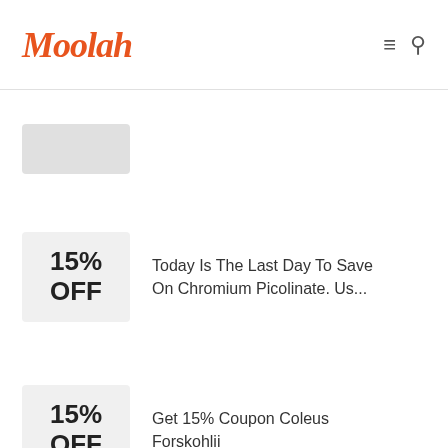Moolah
15% OFF — Today Is The Last Day To Save On Chromium Picolinate. Us...
15% OFF — Get 15% Coupon Coleus Forskohlii